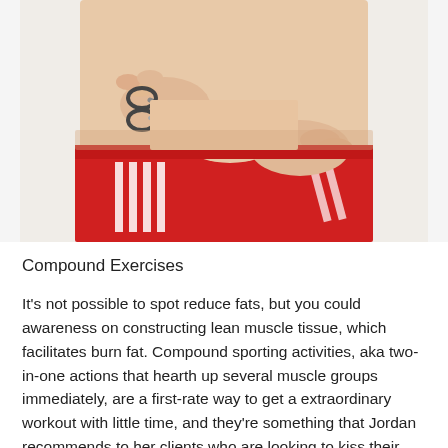[Figure (photo): Close-up photo of a person wearing red athletic shorts, pinching belly fat near the waist with one hand while holding scissors with the other hand, suggesting cutting or removing fat. The person appears to have a fit torso.]
Compound Exercises
It's not possible to spot reduce fats, but you could awareness on constructing lean muscle tissue, which facilitates burn fat. Compound sporting activities, aka two-in-one actions that hearth up several muscle groups immediately, are a first-rate way to get a extraordinary workout with little time, and they're something that Jordan recommends to her clients who are looking to kiss their love